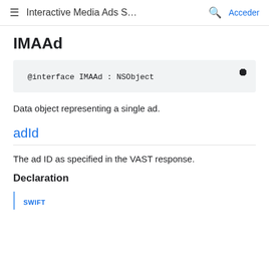Interactive Media Ads S... Acceder
IMAAd
@interface IMAAd : NSObject
Data object representing a single ad.
adId
The ad ID as specified in the VAST response.
Declaration
SWIFT